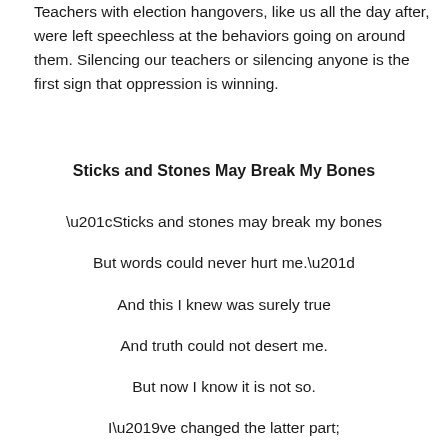Teachers with election hangovers, like us all the day after, were left speechless at the behaviors going on around them. Silencing our teachers or silencing anyone is the first sign that oppression is winning.
Sticks and Stones May Break My Bones
“Sticks and stones may break my bones

But words could never hurt me.”

And this I knew was surely true

And truth could not desert me.

But now I know it is not so.

I’ve changed the latter part;